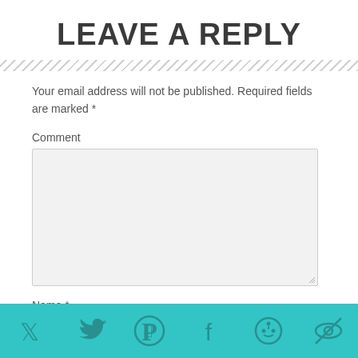LEAVE A REPLY
Your email address will not be published. Required fields are marked *
Comment
Name *
[Figure (infographic): Social media share bar with Twitter, Pinterest, Facebook, Reddit, and another icon on a teal background]